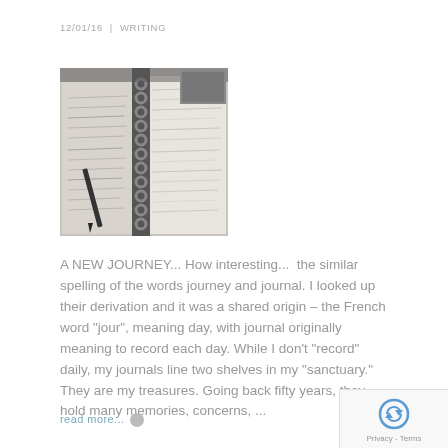12/01/16 | WRITING
[Figure (photo): Open spiral-bound notebook/journal with handwritten text and a pen, photographed from above in black and white tones]
A NEW JOURNEY... How interesting...  the similar spelling of the words journey and journal. I looked up their derivation and it was a shared origin – the French word "jour", meaning day, with journal originally meaning to record each day. While I don't "record" daily, my journals line two shelves in my "sanctuary." They are my treasures. Going back fifty years, they hold many memories, concerns, ...
read more...  ▶